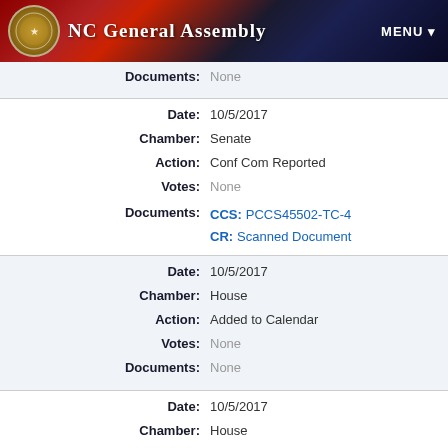NC General Assembly
| Field | Value |
| --- | --- |
| Documents: | None |
| Date: | 10/5/2017 |
| Chamber: | Senate |
| Action: | Conf Com Reported |
| Votes: | None |
| Documents: | CCS: PCCS45502-TC-4 | CR: Scanned Document |
| Date: | 10/5/2017 |
| Chamber: | House |
| Action: | Added to Calendar |
| Votes: | None |
| Documents: | None |
| Date: | 10/5/2017 |
| Chamber: | House |
| Action: | Conf Com Reported |
| Votes: | None |